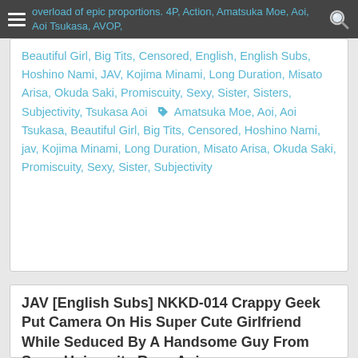overload of epic proportions. 4P, Action, Amatsuka Moe, Aoi, Aoi Tsukasa, AVOP, Beautiful Girl, Big Tits, Censored, English, English Subs, Hoshino Nami, JAV, Kojima Minami, Long Duration, Misato Arisa, Okuda Saki, Promiscuity, Sexy, Sister, Sisters, Subjectivity, Tsukasa Aoi
Amatsuka Moe, Aoi, Aoi Tsukasa, Beautiful Girl, Big Tits, Censored, Hoshino Nami, jav, Kojima Minami, Long Duration, Misato Arisa, Okuda Saki, Promiscuity, Sexy, Sister, Subjectivity
JAV [English Subs] NKKD-014 Crappy Geek Put Camera On His Super Cute Girlfriend While Seduced By A Handsome Guy From Same University Rena Aoi